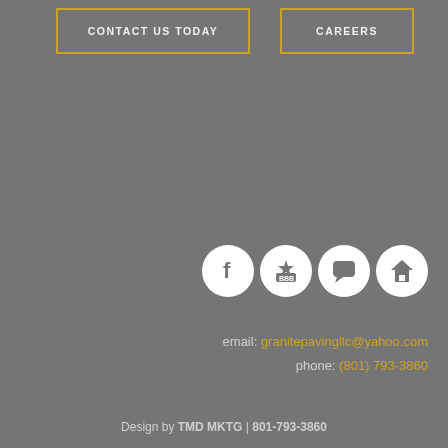CONTACT US TODAY
CAREERS
[Figure (illustration): Four social media / review icons in white circles: Facebook, BBB, speech bubble (chat), and HomeAdvisor house icon]
email: granitepavingllc@yahoo.com
phone: (801) 793-3860
Design by TMD MKTG | 801-793-3860